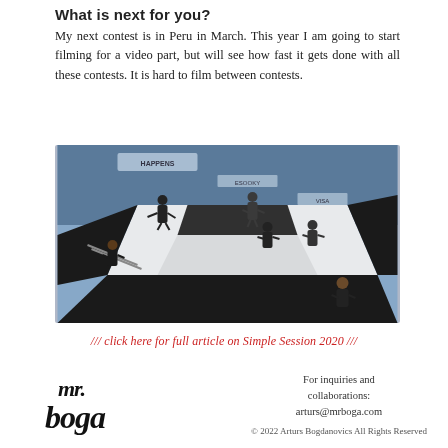What is next for you?
My next contest is in Peru in March. This year I am going to start filming for a video part, but will see how fast it gets done with all these contests. It is hard to film between contests.
[Figure (photo): Overhead view of a skateboard park/contest venue with multiple skaters on a large white platform/box structure, surrounded by blue ramp surfaces and sponsor banners]
/// click here for full article on Simple Session 2020 ///
[Figure (logo): mr. boga handwritten-style logo in black]
For inquiries and collaborations: arturs@mrboga.com
© 2022 Arturs Bogdanovics All Rights Reserved